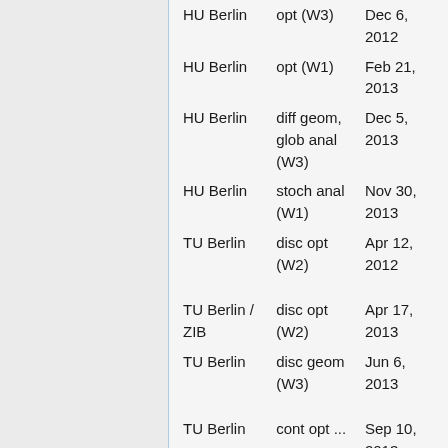| HU Berlin | opt (W3) | Dec 6, 2012 |
| HU Berlin | opt (W1) | Feb 21, 2013 |
| HU Berlin | diff geom, glob anal (W3) | Dec 5, 2013 |
| HU Berlin | stoch anal (W1) | Nov 30, 2013 |
| TU Berlin | disc opt (W2) | Apr 12, 2012 |
| TU Berlin / ZIB | disc opt (W2) | Apr 17, 2013 |
| TU Berlin | disc geom (W3) | Jun 6, 2013 |
| TU Berlin | cont opt ... | Sep 10, 2013 |